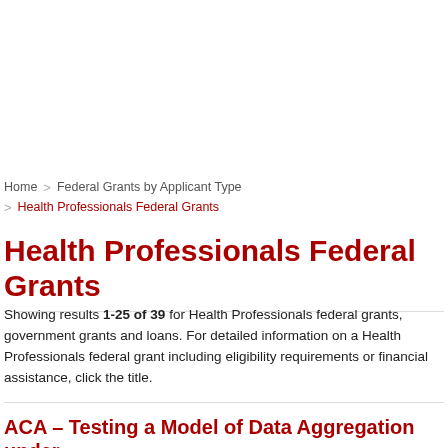Home > Federal Grants by Applicant Type > Health Professionals Federal Grants
Health Professionals Federal Grants
Showing results 1-25 of 39 for Health Professionals federal grants, government grants and loans. For detailed information on a Health Professionals federal grant including eligibility requirements or financial assistance, click the title.
ACA – Testing a Model of Data Aggregation under